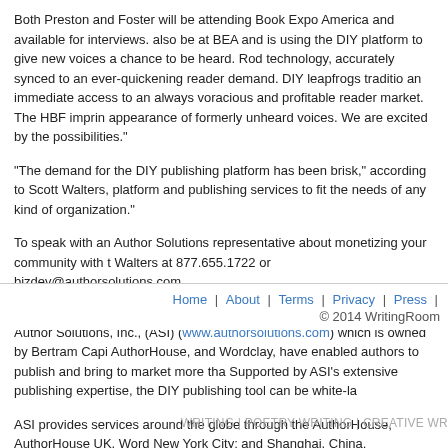Both Preston and Foster will be attending Book Expo America and available for interviews. also be at BEA and is using the DIY platform to give new voices a chance to be heard. Rod technology, accurately synced to an ever-quickening reader demand. DIY leapfrogs traditio an immediate access to an always voracious and profitable reader market. The HBF imprin appearance of formerly unheard voices. We are excited by the possibilities."
"The demand for the DIY publishing platform has been brisk," according to Scott Walters, platform and publishing services to fit the needs of any kind of organization."
To speak with an Author Solutions representative about monetizing your community with t Walters at 877.655.1722 or bizdev@authorsolutions.com.
About Author Solutions, Inc.
Author Solutions, Inc., (ASI) (www.authorsolutions.com) which is owned by Bertram Capi AuthorHouse, and Wordclay, have enabled authors to publish and bring to market more tha Supported by ASI's extensive publishing expertise, the DIY publishing tool can be white-la
ASI provides services around the globe through the AuthorHouse, AuthorHouse UK, Word New York City; and Shanghai, China.
Home | About | Terms | Privacy | Press | © 2014 WritingRoom
WRITING | POETRY WRITING | CREATIVE WR